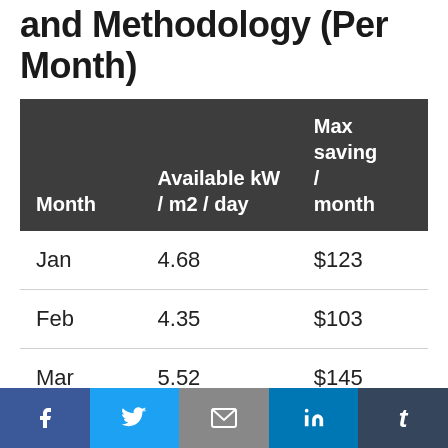and Methodology (Per Month)
| Month | Available kW / m2 / day | Max saving / month |
| --- | --- | --- |
| Jan | 4.68 | $123 |
| Feb | 4.35 | $103 |
| Mar | 5.52 | $145 |
| Apr | 6.11 | $156 |